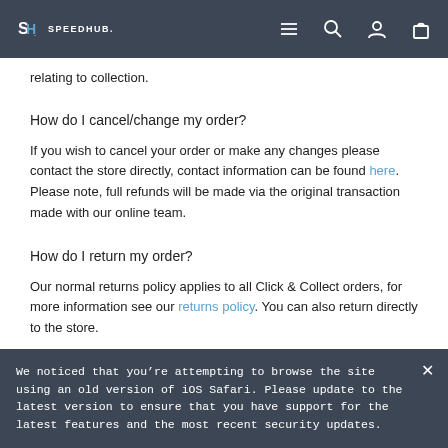SpeedHub header navigation
relating to collection.
How do I cancel/change my order?
If you wish to cancel your order or make any changes please contact the store directly, contact information can be found here. Please note, full refunds will be made via the original transaction made with our online team.
How do I return my order?
Our normal returns policy applies to all Click & Collect orders, for more information see our returns policy. You can also return directly to the store.
We noticed that you’re attempting to browse the site using an old version of iOS Safari. Please update to the latest version to ensure that you have support for the latest features and the most recent security updates.